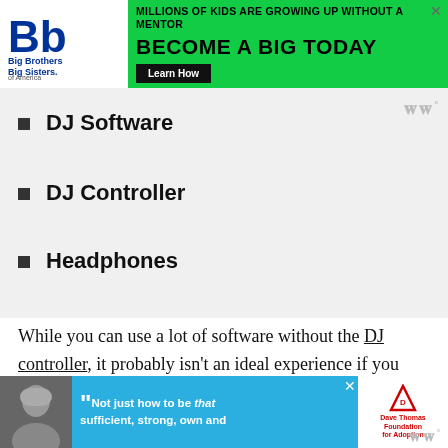[Figure (other): Big Brothers Big Sisters of America advertisement banner - green background with text 'MILLIONS OF KIDS ARE GROWING UP WITHOUT A MENTOR' and 'BECOME A BIG TODAY' with Learn How button]
DJ Software
DJ Controller
Headphones
While you can use a lot of software without the DJ controller, it probably isn't an ideal experience if you want to take your DJ skills to the absolute next level. A lot of people will purchase their software based on the
[Figure (other): Dave Thomas Foundation for Adoption advertisement - blue background with quote text and logo]